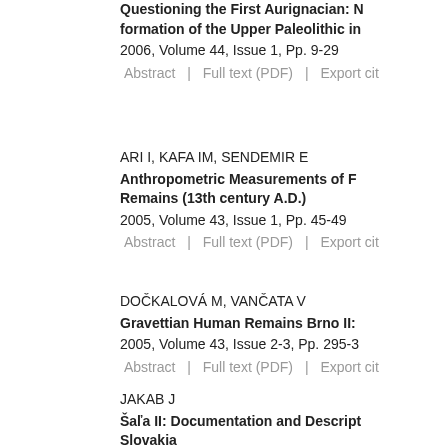Questioning the First Aurignacian: N... formation of the Upper Paleolithic in...
2006, Volume 44, Issue 1, Pp. 9-29
Abstract | Full text (PDF) | Export cit...
ARI I, KAFA IM, SENDEMIR E
Anthropometric Measurements of F... Remains (13th century A.D.)
2005, Volume 43, Issue 1, Pp. 45-49
Abstract | Full text (PDF) | Export cit...
DOČKALOVÁ M, VANČATA V
Gravettian Human Remains Brno II:...
2005, Volume 43, Issue 2-3, Pp. 295-3...
Abstract | Full text (PDF) | Export cit...
JAKAB J
Šaľa II: Documentation and Descript... Slovakia